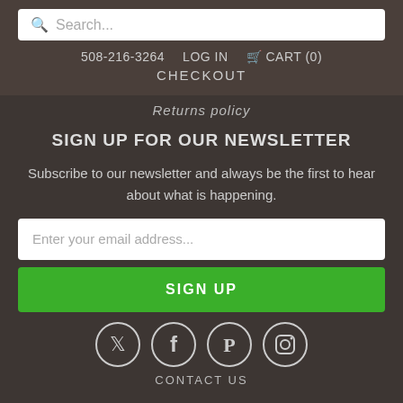[Figure (screenshot): Search bar with magnifying glass icon and placeholder text 'Search...']
508-216-3264   LOG IN   🛒 CART (0)
CHECKOUT
Returns policy
SIGN UP FOR OUR NEWSLETTER
Subscribe to our newsletter and always be the first to hear about what is happening.
[Figure (screenshot): Email input field with placeholder 'Enter your email address...']
[Figure (screenshot): Green SIGN UP button]
[Figure (infographic): Four social media icons in circles: Twitter, Facebook, Pinterest, Instagram]
CONTACT US